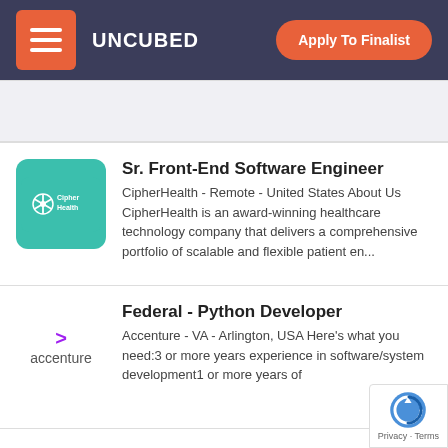UNCUBED | Apply To Finalist
[Figure (logo): CipherHealth teal rounded rectangle logo with asterisk icon and text]
Sr. Front-End Software Engineer
CipherHealth - Remote - United States About Us CipherHealth is an award-winning healthcare technology company that delivers a comprehensive portfolio of scalable and flexible patient en...
[Figure (logo): Accenture text logo with purple arrow]
Federal - Python Developer
Accenture - VA - Arlington, USA Here's what you need:3 or more years experience in software/system development1 or more years of